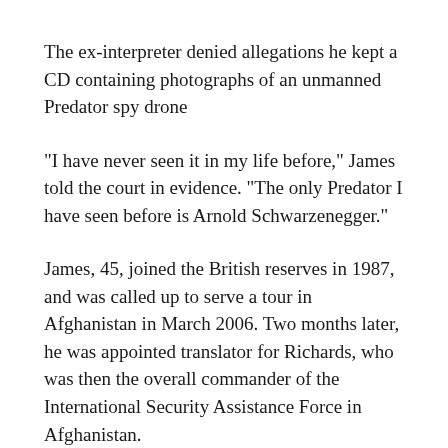The ex-interpreter denied allegations he kept a CD containing photographs of an unmanned Predator spy drone
"I have never seen it in my life before," James told the court in evidence. "The only Predator I have seen before is Arnold Schwarzenegger."
James, 45, joined the British reserves in 1987, and was called up to serve a tour in Afghanistan in March 2006. Two months later, he was appointed translator for Richards, who was then the overall commander of the International Security Assistance Force in Afghanistan.